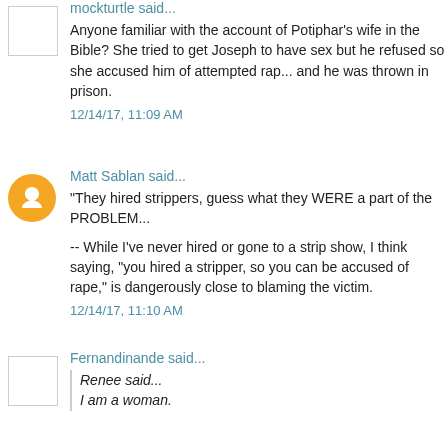mockturtle said...
Anyone familiar with the account of Potiphar's wife in the Bible? She tried to get Joseph to have sex but he refused so she accused him of attempted rap... and he was thrown in prison.
12/14/17, 11:09 AM
Matt Sablan said...
"They hired strippers, guess what they WERE a part of the PROBLEM...
-- While I've never hired or gone to a strip show, I think saying, "you hired a stripper, so you can be accused of rape," is dangerously close to blaming the victim.
12/14/17, 11:10 AM
Fernandinande said...
Renee said...
I am a woman.